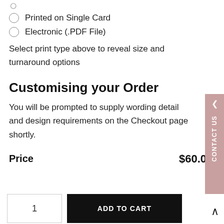Printed on Single Card
Electronic (.PDF File)
Select print type above to reveal size and turnaround options
Customising your Order
You will be prompted to supply wording details and design requirements on the Checkout page shortly.
Price  $60.0